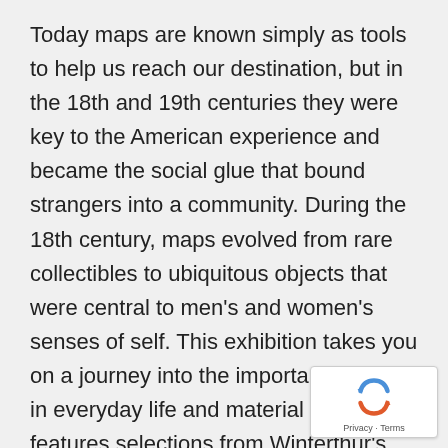Today maps are known simply as tools to help us reach our destination, but in the 18th and 19th centuries they were key to the American experience and became the social glue that bound strangers into a community. During the 18th century, maps evolved from rare collectibles to ubiquitous objects that were central to men's and women's senses of self. This exhibition takes you on a journey into the importance of maps in everyday life and material culture and features selections from Winterthur's fascinating collection of traditional maps on paper as well as map-related objects, such as ceramics, geographic
[Figure (other): reCAPTCHA badge with logo and 'Privacy - Terms' text in bottom right corner]